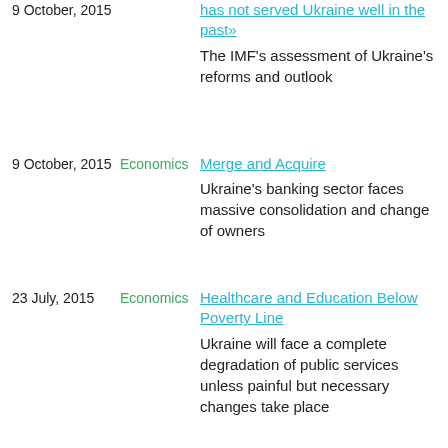9 October, 2015
has not served Ukraine well in the past»
The IMF's assessment of Ukraine's reforms and outlook
9 October, 2015
Economics
Merge and Acquire
Ukraine's banking sector faces massive consolidation and change of owners
23 July, 2015
Economics
Healthcare and Education Below Poverty Line
Ukraine will face a complete degradation of public services unless painful but necessary changes take place